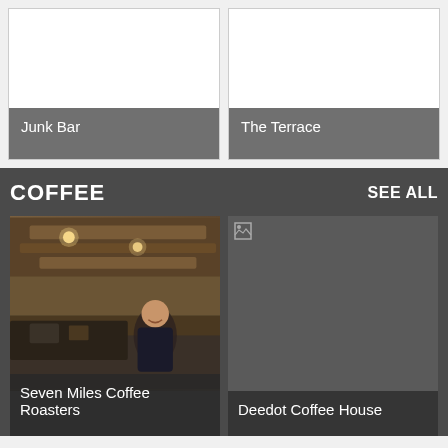[Figure (photo): Venue card for Junk Bar with white image area and grey label]
Junk Bar
[Figure (photo): Venue card for The Terrace with white image area and grey label]
The Terrace
COFFEE
SEE ALL
[Figure (photo): Photo of Seven Miles Coffee Roasters interior with barista and wooden ceiling]
Seven Miles Coffee Roasters
[Figure (photo): Placeholder image for Deedot Coffee House with broken image icon]
Deedot Coffee House